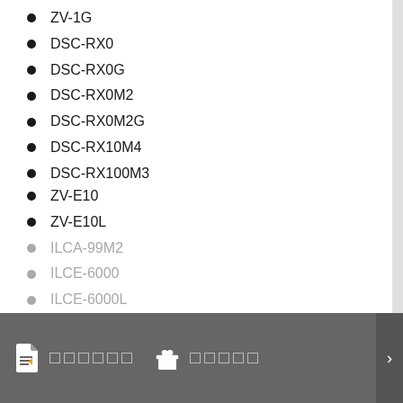ZV-1G
DSC-RX0
DSC-RX0G
DSC-RX0M2
DSC-RX0M2G
DSC-RX10M4
DSC-RX100M3
DSC-RX100M3G
DSC-RX100M4
DSC-RX100M5
[section header in non-Latin script]
ZV-E10
ZV-E10L
ILCA-99M2
ILCE-6000
ILCE-6000L